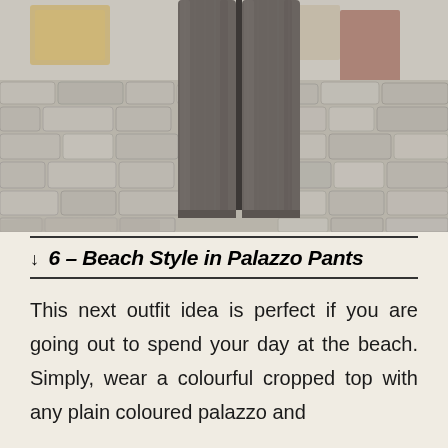[Figure (photo): Close-up photo of palazzo pants legs on cobblestone pavement, showing wide-leg trousers in a dark grey/brown textured fabric standing on a cobblestone street]
↓ 6 – Beach Style in Palazzo Pants
This next outfit idea is perfect if you are going out to spend your day at the beach. Simply, wear a colourful cropped top with any plain coloured palazzo and